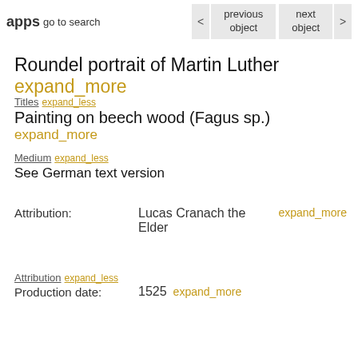apps go to search
< previous object   next object >
Roundel portrait of Martin Luther expand_more
Titles expand_less
Painting on beech wood (Fagus sp.) expand_more
Medium expand_less
See German text version
Attribution: Lucas Cranach the Elder expand_more
Attribution expand_less
Production date: 1525 expand_more